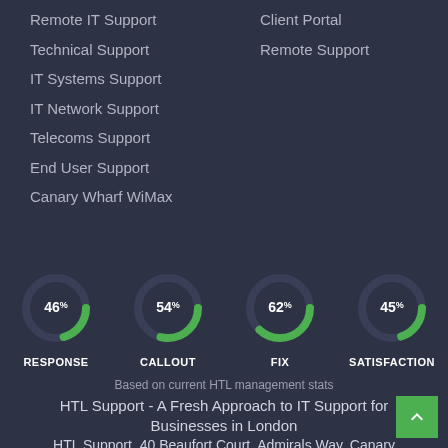Remote IT Support
Technical Support
IT Systems Support
IT Network Support
Telecoms Support
End User Support
Canary Wharf WiMax
Client Portal
Remote Support
[Figure (donut-chart): RESPONSE]
[Figure (donut-chart): CALLOUT]
[Figure (donut-chart): FIX]
[Figure (donut-chart): SATISFACTION]
Based on current HTL management stats
HTL Support - A Fresh Approach to IT Support for Businesses in London
HTL Support, 40 Beaufort Court, Admirals Way, Canary